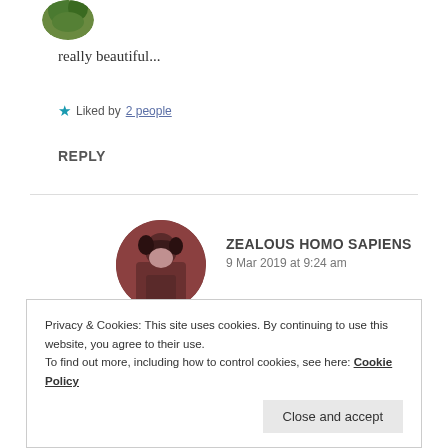[Figure (photo): Circular profile photo thumbnail at top, showing green/nature tones]
really beautiful...
★ Liked by 2 people
REPLY
[Figure (photo): Circular profile photo of user Zealous Homo Sapiens, dark reddish tones showing a person with dark hair]
ZEALOUS HOMO SAPIENS
9 Mar 2019 at 9:24 am
Privacy & Cookies: This site uses cookies. By continuing to use this website, you agree to their use.
To find out more, including how to control cookies, see here: Cookie Policy
Close and accept